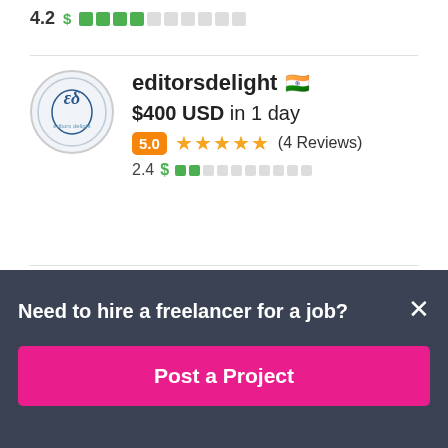4.2
[Figure (screenshot): Freelancer profile card for editorsdelight showing $400 USD in 1 day, 5.0 rating with 4 reviews, 2.4 skill score with green dollar and bar indicators, India flag emoji, and circular logo with ES initials]
Need to hire a freelancer for a job?
Post a Project